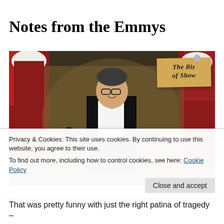Notes from the Emmys
[Figure (photo): Photo of a man in a black tuxedo with bow tie on stage at the Emmys, smiling and gesturing, with people in red robes and white caps (Handmaid's Tale costumes) visible in the background. A sticky note overlay in the upper right reads 'The Biz of Show'.]
Privacy & Cookies: This site uses cookies. By continuing to use this website, you agree to their use.
To find out more, including how to control cookies, see here: Cookie Policy
That was pretty funny with just the right patina of tragedy –